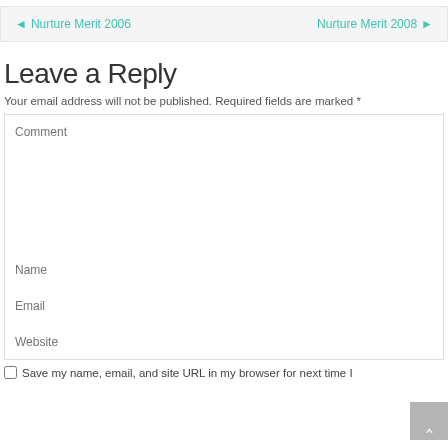◄ Nurture Merit 2006    Nurture Merit 2008 ►
Leave a Reply
Your email address will not be published. Required fields are marked *
[Figure (screenshot): Web comment form with fields for Comment, Name, Email, Website, and a Save checkbox]
Save my name, email, and site URL in my browser for next time I